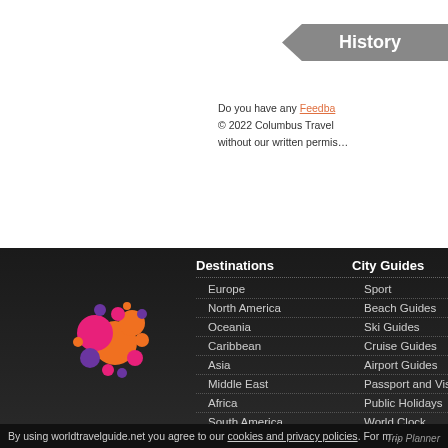History
Do you have any Feedback © 2022 Columbus Travel without our written permission
Destinations
Europe
North America
Oceania
Caribbean
Asia
Middle East
Africa
South America
City Guides
Sport
Beach Guides
Ski Guides
Cruise Guides
Airport Guides
Passport and Visa
Public Holidays
World Clock
Travel Deals
Travel Insurance
[Figure (logo): World travel guide logo: colorful circles in pink, orange, purple arranged in a cluster]
By using worldtravelguide.net you agree to our cookies and privacy policies. For more Trip Planner